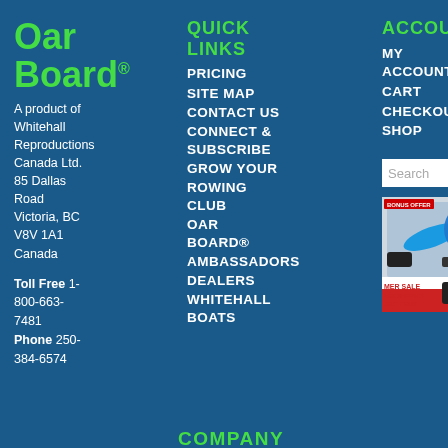Oar Board®
A product of Whitehall Reproductions Canada Ltd.
85 Dallas Road
Victoria, BC
V8V 1A1
Canada
Toll Free 1-800-663-7481
Phone 250-384-6574
QUICK LINKS
PRICING
SITE MAP
CONTACT US
CONNECT & SUBSCRIBE
GROW YOUR ROWING CLUB
OAR BOARD® AMBASSADORS
DEALERS
WHITEHALL BOATS
ACCOUNT
MY ACCOUNT
CART
CHECKOUT
SHOP
[Figure (screenshot): Search input box with magnifying glass icon]
[Figure (photo): Promotional image showing water sports accessories with 'BONUS OFFER' and 'SUMMER SALE FREE SHIPPING SELECT ITEMS' text, with a blue chat bubble icon overlay and a dark back-to-top arrow button]
COMPANY